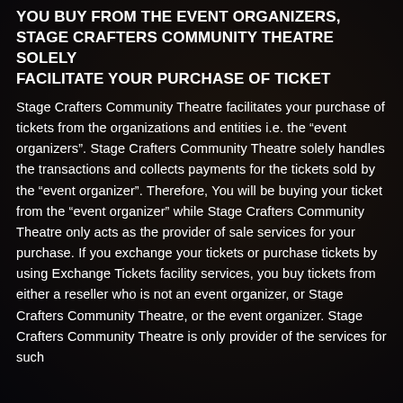YOU BUY FROM THE EVENT ORGANIZERS, STAGE CRAFTERS COMMUNITY THEATRE SOLELY FACILITATE YOUR PURCHASE OF TICKET
Stage Crafters Community Theatre facilitates your purchase of tickets from the organizations and entities i.e. the “event organizers”. Stage Crafters Community Theatre solely handles the transactions and collects payments for the tickets sold by the “event organizer”. Therefore, You will be buying your ticket from the “event organizer” while Stage Crafters Community Theatre only acts as the provider of sale services for your purchase. If you exchange your tickets or purchase tickets by using Exchange Tickets facility services, you buy tickets from either a reseller who is not an event organizer, or Stage Crafters Community Theatre, or the event organizer. Stage Crafters Community Theatre is only provider of the services for such